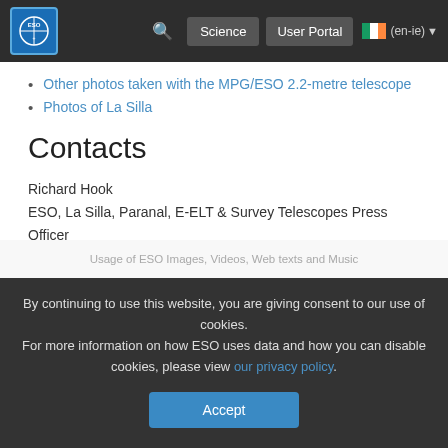ESO Science | User Portal | (en-ie)
Other photos taken with the MPG/ESO 2.2-metre telescope
Photos of La Silla
Contacts
Richard Hook
ESO, La Silla, Paranal, E-ELT & Survey Telescopes Press Officer
Garching bei München, Germany
Tel: +49 89 3200 6655
Cell: +49 151 1537 3591
Email: rhook@eso.org
Connect with ESO on social media
Usage of ESO Images, Videos, Web texts and Music
By continuing to use this website, you are giving consent to our use of cookies.
For more information on how ESO uses data and how you can disable cookies, please view our privacy policy.
Accept